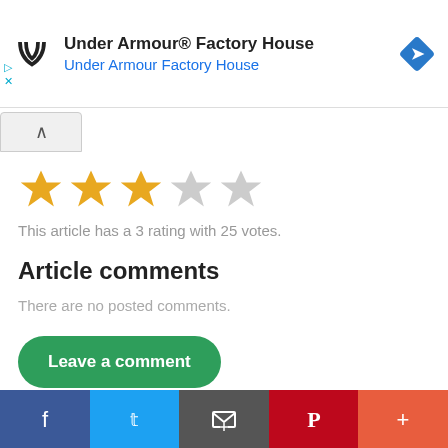[Figure (logo): Under Armour Factory House advertisement banner with UA logo, store name, blue subtitle, and blue diamond navigation icon]
[Figure (infographic): Star rating showing 3 out of 5 gold stars and 2 grey stars]
This article has a 3 rating with 25 votes.
Article comments
There are no posted comments.
Leave a comment
[Figure (infographic): Social sharing footer bar with Facebook (blue), Twitter (light blue), Email (grey), Pinterest (red), More (orange-red) buttons]